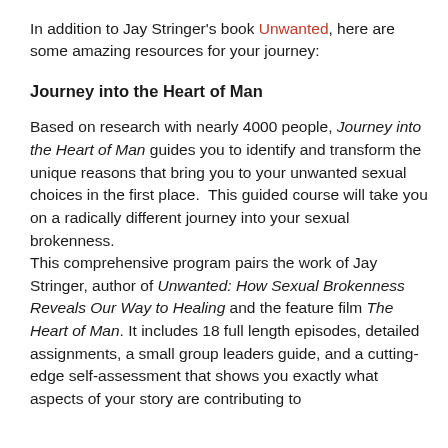In addition to Jay Stringer's book Unwanted, here are some amazing resources for your journey:
Journey into the Heart of Man
Based on research with nearly 4000 people, Journey into the Heart of Man guides you to identify and transform the unique reasons that bring you to your unwanted sexual choices in the first place.  This guided course will take you on a radically different journey into your sexual brokenness. This comprehensive program pairs the work of Jay Stringer, author of Unwanted: How Sexual Brokenness Reveals Our Way to Healing and the feature film The Heart of Man. It includes 18 full length episodes, detailed assignments, a small group leaders guide, and a cutting-edge self-assessment that shows you exactly what aspects of your story are contributing to